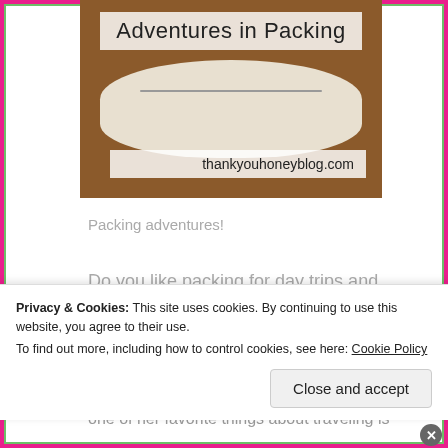[Figure (photo): Blog header image for 'Adventures in Packing' from thankyouhoneyblog.com, showing a cream/beige travel bag on a wooden surface with text overlays.]
Packing adventures!
Do you like packing for day trips and vacations? A lot of people find packing overwhelming but I actually find it really relaxing. It gets me in such an excited
one of her favorite things about traveling is
Privacy & Cookies: This site uses cookies. By continuing to use this website, you agree to their use.
To find out more, including how to control cookies, see here: Cookie Policy